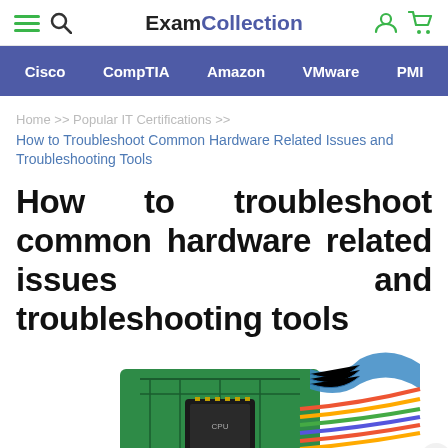ExamCollection
Cisco  CompTIA  Amazon  VMware  PMI
Home >> Popular IT Certifications >>
How to Troubleshoot Common Hardware Related Issues and Troubleshooting Tools
How to troubleshoot common hardware related issues and troubleshooting tools
[Figure (photo): Photo of computer hardware components including a green circuit board, colorful ribbon cables, and other electronic components]